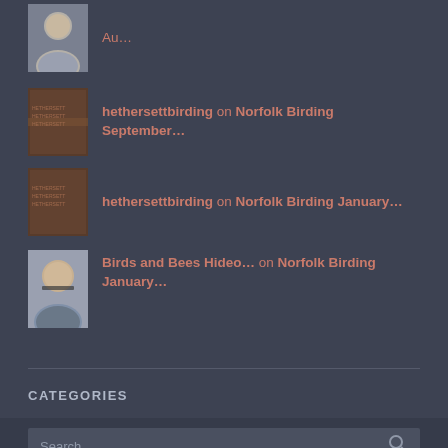Au...
hethersettbirding on Norfolk Birding September...
hethersettbirding on Norfolk Birding January...
Birds and Bees Hideo... on Norfolk Birding January...
CATEGORIES
Select Category